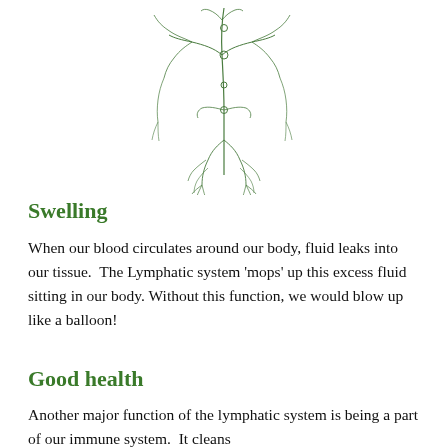[Figure (illustration): Green line drawing of the human lymphatic system showing lymph nodes and vessels running through the body, centered at top of page]
Swelling
When our blood circulates around our body, fluid leaks into our tissue.  The Lymphatic system 'mops' up this excess fluid sitting in our body.  Without this function, we would blow up like a balloon!
Good health
Another major function of the lymphatic system is being a part of our immune system.  It cleans our blood, to ensure that we are as well as we all